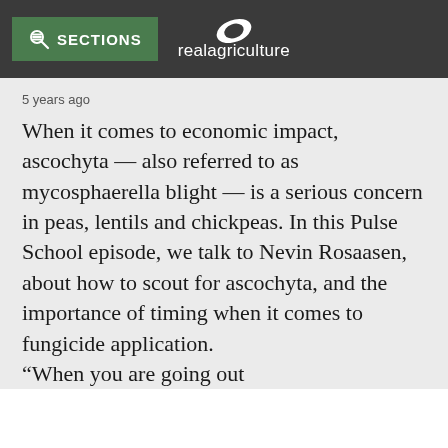SECTIONS | realagriculture
5 years ago
When it comes to economic impact, ascochyta — also referred to as mycosphaerella blight — is a serious concern in peas, lentils and chickpeas. In this Pulse School episode, we talk to Nevin Rosaasen, about how to scout for ascochyta, and the importance of timing when it comes to fungicide application. “When you are going out